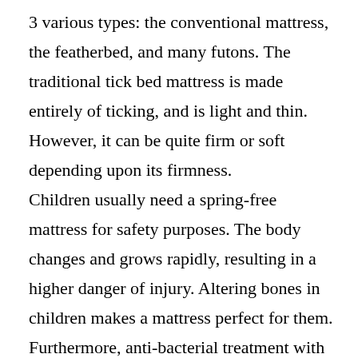3 various types: the conventional mattress, the featherbed, and many futons. The traditional tick bed mattress is made entirely of ticking, and is light and thin. However, it can be quite firm or soft depending upon its firmness.
Children usually need a spring-free mattress for safety purposes. The body changes and grows rapidly, resulting in a higher danger of injury. Altering bones in children makes a mattress perfect for them. Furthermore, anti-bacterial treatment with silver ions will avoid germs from forming.